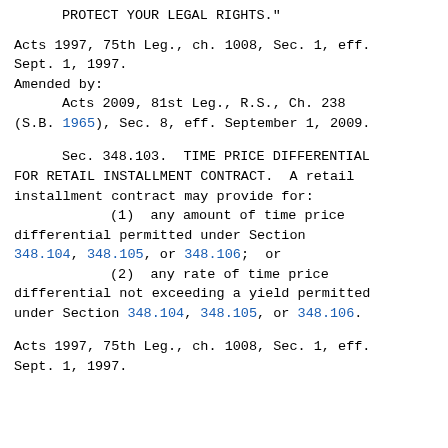PROTECT YOUR LEGAL RIGHTS."
Acts 1997, 75th Leg., ch. 1008, Sec. 1, eff. Sept. 1, 1997.
Amended by:
        Acts 2009, 81st Leg., R.S., Ch. 238 (S.B. 1965), Sec. 8, eff. September 1, 2009.
Sec. 348.103.  TIME PRICE DIFFERENTIAL FOR RETAIL INSTALLMENT CONTRACT.  A retail installment contract may provide for:
        (1)  any amount of time price differential permitted under Section 348.104, 348.105, or 348.106;  or
        (2)  any rate of time price differential not exceeding a yield permitted under Section 348.104, 348.105, or 348.106.
Acts 1997, 75th Leg., ch. 1008, Sec. 1, eff. Sept. 1, 1997.